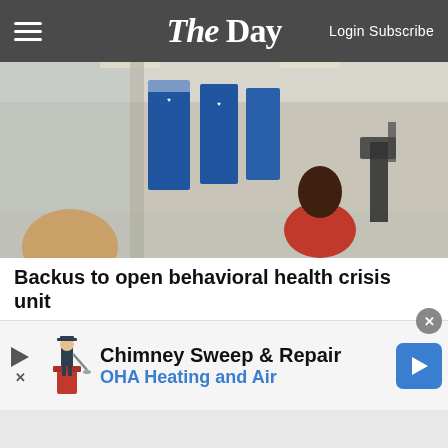The Day — Login Subscribe
[Figure (photo): Interior of a hospital corridor or waiting area with people, blue signage banners visible, a person in a red top and others with camera equipment in background.]
Backus to open behavioral health crisis unit
Norwich — Backus Hospital officials are eager to open a newly built behavioral health crisis unit in the hospital's Emergency Department, a 10-bed facility administrators, physicians and nurses said F...
[Figure (infographic): Advertisement banner: Chimney Sweep & Repair — OHA Heating and Air, with play button, close button, icon of chimney sweep figure and blue navigation arrow button.]